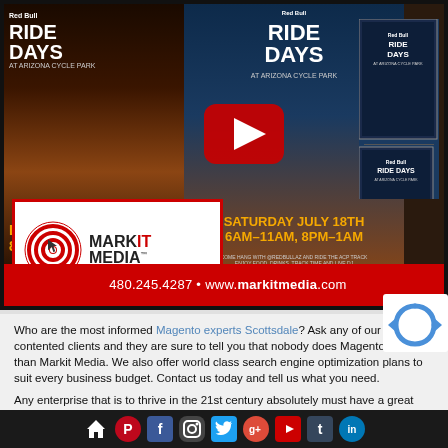[Figure (screenshot): YouTube video thumbnail showing Red Bull Ride Days at Arizona Cycle Park promotional flyers/posters on a table. A large red YouTube play button is overlaid in the center. A Markit Media logo (white box with red border) is in the bottom-left, and a red banner reads '480.245.4287 · www.markitmedia.com' across the bottom of the frame.]
Who are the most informed Magento experts Scottsdale? Ask any of our contented clients and they are sure to tell you that nobody does Magento better than Markit Media. We also offer world class search engine optimization plans to suit every business budget. Contact us today and tell us what you need.
Any enterprise that is to thrive in the 21st century absolutely must have a great online presence. These days, most people use the world wide web to find the information, products and services they want and need. With Magento
[Figure (other): reCAPTCHA logo/widget partially visible in bottom-right corner]
Social media icon navigation bar: home, Pinterest, Facebook, Instagram, Twitter, Google+, YouTube, Tumblr, LinkedIn